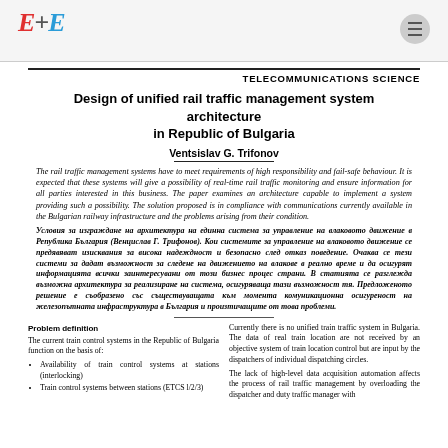E+E logo and navigation
TELECOMMUNICATIONS SCIENCE
Design of unified rail traffic management system architecture in Republic of Bulgaria
Ventsislav G. Trifonov
The rail traffic management systems have to meet requirements of high responsibility and fail-safe behaviour. It is expected that these systems will give a possibility of real-time rail traffic monitoring and ensure information for all parties interested in this business. The paper examines an architecture capable to implement a system providing such a possibility. The solution proposed is in compliance with communications currently available in the Bulgarian railway infrastructure and the problems arising from their condition.
Условия за изграждане на архитектура на единна система за управление на влаковото движение в Република България (Венцислав Г. Трифонов). Кои системите за управление на влаковото движение се предявяват изисквания за висока надеждност и безопасно след отказ поведение. Очаква се тези системи за дадат възможност за следене на движението на влакове в реално време и да осигурят информацията всички заинтересувани от този бизнес процес страни. В статията се разглежда възможна архитектура за реализиране на система, осигуряваща тази възможност тя. Предложеното решение е съобразено със съществуващата към момента комуникационна осигуреност на железопътната инфраструктура в България и произтичащите от това проблеми.
Problem definition
The current train control systems in the Republic of Bulgaria function on the basis of:
Availability of train control systems at stations (interlocking)
Train control systems between stations (ETCS l/2/3)
Currently there is no unified train traffic system in Bulgaria. The data of real train location are not received by an objective system of train location control but are input by the dispatchers of individual dispatching circles.
The lack of high-level data acquisition automation affects the process of rail traffic management by overloading the dispatcher and duty traffic manager with